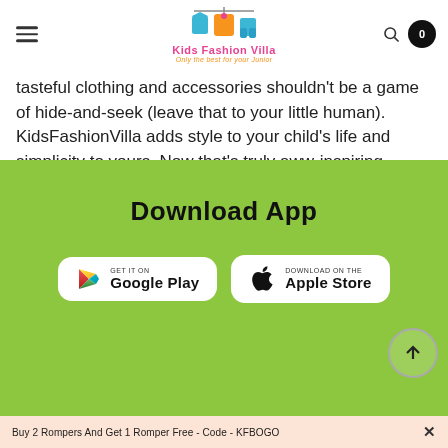[Figure (logo): Kids Fashion Villa logo with clothing icons and tagline 'Only the best for your Junior']
tasteful clothing and accessories shouldn't be a game of hide-and-seek (leave that to your little human). KidsFashionVilla adds style to your child's life and simplicity to yours. Now that's truly aww-inspiring. Read More..
Download App
[Figure (screenshot): Google Play store download button]
[Figure (screenshot): Apple App Store download button]
Buy 2 Rompers And Get 1 Romper Free - Code - KFBOGO